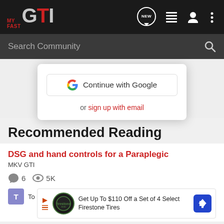MY FAST GTI — navigation bar with logo and icons
Search Community
[Figure (screenshot): Google sign-in popup with 'Continue with Google' button and 'or sign up with email' link]
Recommended Reading
DSG and hand controls for a Paraplegic
MKV GTI
6 comments, 5K views
[Figure (screenshot): Advertisement: Get Up To $110 Off a Set of 4 Select Firestone Tires with Firestone auto logo and map pin arrow icon]